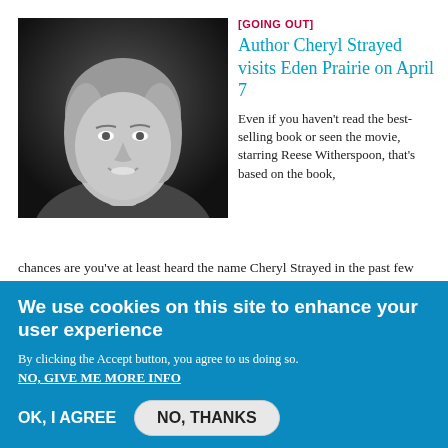[Figure (photo): Black and white portrait photo of a woman with blonde hair, smiling]
[GOING OUT]
Author Cheryl Strayed visits Eden Prairie on April 7
Even if you haven't read the best-selling book or seen the movie, starring Reese Witherspoon, that's based on the book, chances are you've at least heard the name Cheryl Strayed in the past few years.
[Figure (photo): Colorful display of children's books, showing spines and covers with bright colors]
[GOING OUT]
10th Annual Hooked on Books at Chanhassen High School
We use cookies on this site to enhance your user experience
By clicking the Accept button, you agree to us doing so.
NO, GIVE ME MORE INFO
OK, I AGREE
NO, THANKS